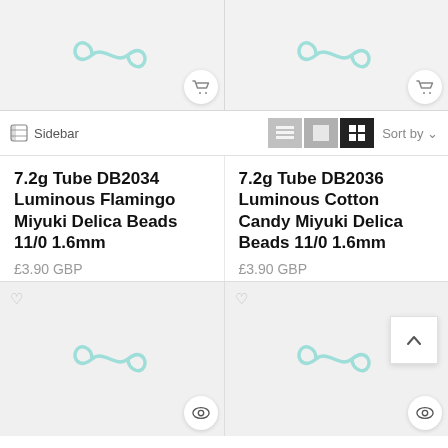[Figure (screenshot): Top two product placeholder images with teal infinity logo on grey background]
[Figure (screenshot): Toolbar with sidebar toggle, list/grid view icons, and sort by dropdown]
7.2g Tube DB2034 Luminous Flamingo Miyuki Delica Beads 11/0 1.6mm
£3.90 GBP
7.2g Tube DB2036 Luminous Cotton Candy Miyuki Delica Beads 11/0 1.6mm
£3.90 GBP
[Figure (screenshot): Bottom two product placeholder images with teal infinity logo on grey background]